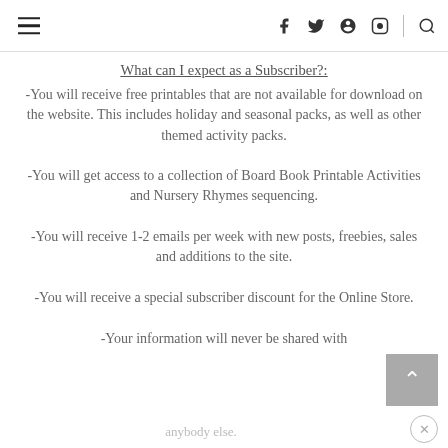≡  f  y  ⊕  ☷  |  🔍
What can I expect as a Subscriber?:
-You will receive free printables that are not available for download on the website. This includes holiday and seasonal packs, as well as other themed activity packs.
-You will get access to a collection of Board Book Printable Activities and Nursery Rhymes sequencing.
-You will receive 1-2 emails per week with new posts, freebies, sales and additions to the site.
-You will receive a special subscriber discount for the Online Store.
-Your information will never be shared with
anybody else.